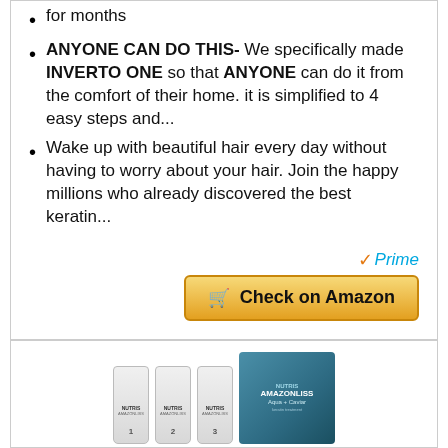for months
ANYONE CAN DO THIS- We specifically made INVERTO ONE so that ANYONE can do it from the comfort of their home. it is simplified to 4 easy steps and...
Wake up with beautiful hair every day without having to worry about your hair. Join the happy millions who already discovered the best keratin...
✓Prime
🛒 Check on Amazon
BESTSELLER NO. 16
[Figure (photo): Product photo showing three bottles labeled AMAZONLISS and a blue product box labeled AMAZONLISS Aqua + Caviar keratin treatment kit]